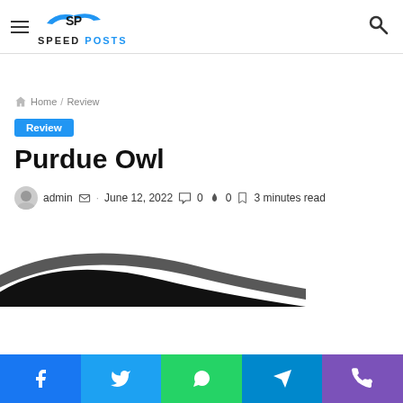Speed Posts
Home / Review
Review
Purdue Owl
admin · June 12, 2022 · 0 comments · 0 · 3 minutes read
[Figure (illustration): Partial swoosh/wing graphic in black at the bottom of the article hero area]
Facebook · Twitter · WhatsApp · Telegram · Phone